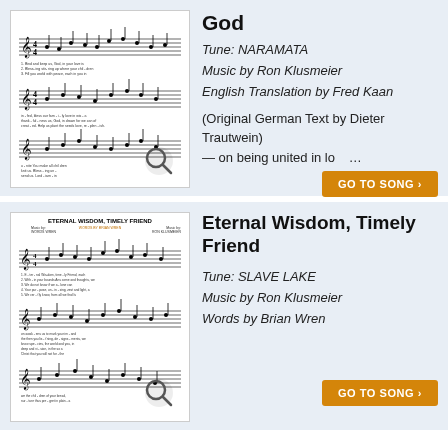[Figure (illustration): Sheet music thumbnail for a hymn about God, with magnifying glass icon overlay]
God
Tune: NARAMATA
Music by Ron Klusmeier
English Translation by Fred Kaan
(Original German Text by Dieter Trautwein)
— on being united in love
GO TO SONG ›
[Figure (illustration): Sheet music thumbnail for Eternal Wisdom, Timely Friend, with magnifying glass icon overlay]
Eternal Wisdom, Timely Friend
Tune: SLAVE LAKE
Music by Ron Klusmeier
Words by Brian Wren
GO TO SONG ›